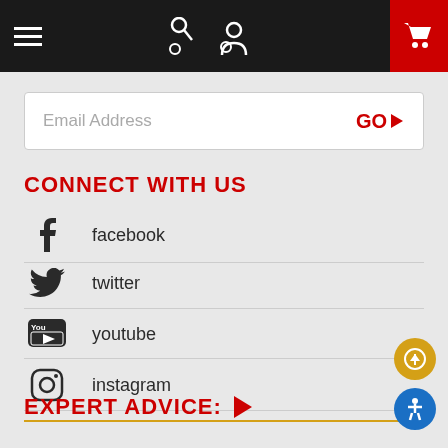[Figure (screenshot): Top navigation bar with hamburger menu, search icon, account icon, and red shopping cart button]
Email Address  GO ▶
CONNECT WITH US
facebook
twitter
youtube
instagram
EXPERT ADVICE: ▶